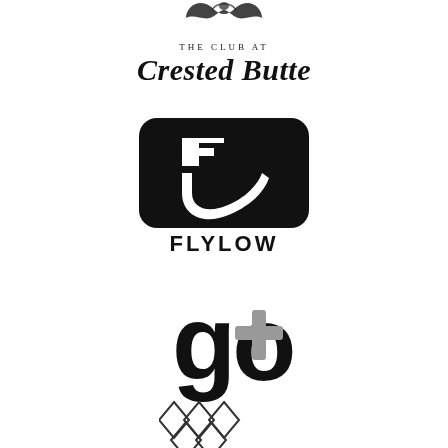[Figure (logo): The Club at Crested Butte logo with decorative emblem above text]
[Figure (logo): Flylow logo: black rounded rectangle with white stylized F/arrow shape, FLYLOW text below in bold black capitals]
[Figure (logo): go+ logo: large black lowercase 'go' with a grey plus/cross symbol]
[Figure (logo): Partial diamond/geometric pattern logo at bottom, partially cropped]